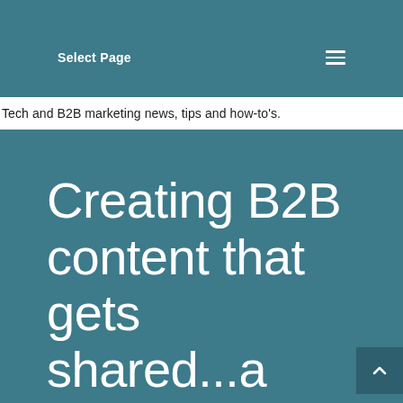Select Page
Tech and B2B marketing news, tips and how-to's.
Creating B2B content that gets shared...a tech company